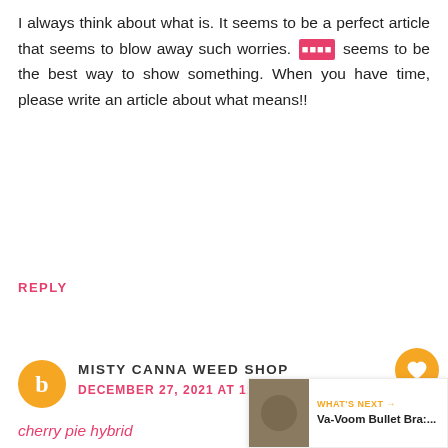I always think about what is. It seems to be a perfect article that seems to blow away such worries. [emoji] seems to be the best way to show something. When you have time, please write an article about what means!!
REPLY
MISTY CANNA WEED SHOP
DECEMBER 27, 2021 AT 1:35 AM
cherry pie hybrid
Misty Canna Shop is one of the national and worldwide pioneers when it comes to medical cannabis patients with nothing best. It is now possible to purchase your medical